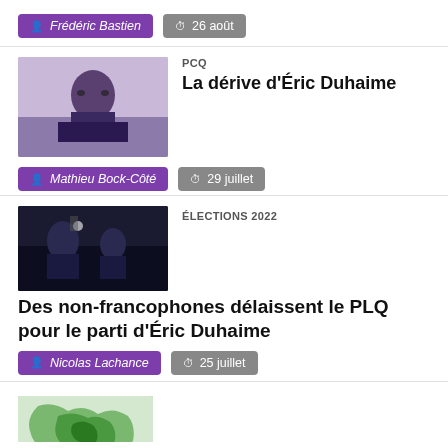Frédéric Bastien  26 août
[Figure (photo): Portrait photo of a person in dark clothing against a light background]
PCQ
La dérive d'Éric Duhaime
Mathieu Bock-Côté  29 juillet
[Figure (photo): Two people at an event, dark background]
ÉLECTIONS 2022
Des non-francophones délaissent le PLQ pour le parti d'Éric Duhaime
Nicolas Lachance  25 juillet
[Figure (map): Partial map image visible at bottom of page, showing green geographic regions]